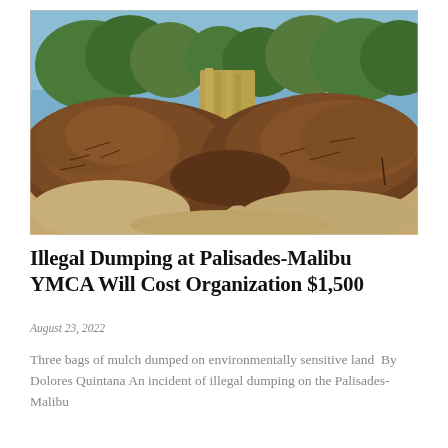[Figure (photo): Photograph of large mounds of wood mulch/chipped debris piled outdoors on dry ground, with trees and shrubs visible in the background under a blue sky.]
Illegal Dumping at Palisades-Malibu YMCA Will Cost Organization $1,500
August 23, 2022
Three bags of mulch dumped on environmentally sensitive land  By Dolores Quintana An incident of illegal dumping on the Palisades-Malibu